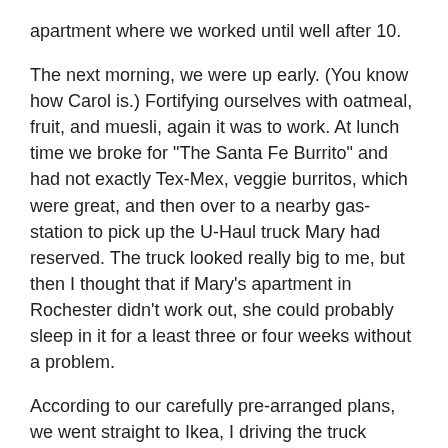apartment where we worked until well after 10.
The next morning, we were up early. (You know how Carol is.) Fortifying ourselves with oatmeal, fruit, and muesli, again it was to work. At lunch time we broke for "The Santa Fe Burrito" and had not exactly Tex-Mex, veggie burritos, which were great, and then over to a nearby gas-station to pick up the U-Haul truck Mary had reserved. The truck looked really big to me, but then I thought that if Mary's apartment in Rochester didn't work out, she could probably sleep in it for a least three or four weeks without a problem.
According to our carefully pre-arranged plans, we went straight to Ikea, I driving the truck through Philly expressway traffic,with Carol in the co-pilot's seat, offering encouragement, and Mary leading in her car. At the Ikea, we dropped off the truck in the parking lot, and Carol and I joined Mary in her car. From there we made our first visit of the trip to a Target at another shopping center about a mile away. I don't remember whether we bought anything at the Target or were simply doing the initial check-in with those folks, because that Targets have turned out to be our home